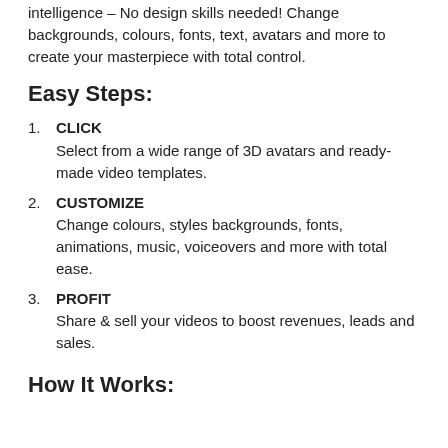intelligence – No design skills needed! Change backgrounds, colours, fonts, text, avatars and more to create your masterpiece with total control.
Easy Steps:
CLICK – Select from a wide range of 3D avatars and ready-made video templates.
CUSTOMIZE – Change colours, styles backgrounds, fonts, animations, music, voiceovers and more with total ease.
PROFIT – Share & sell your videos to boost revenues, leads and sales.
How It Works: